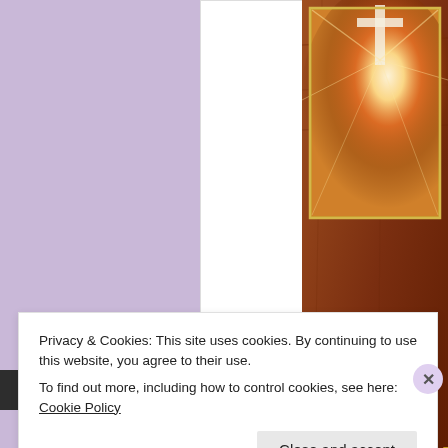[Figure (photo): Book cover with warm brown/orange tones, radiating light beams from a cross, partial text visible 'J. M. R. I']
BUY ON AMAZON | SHAR
Privacy & Cookies: This site uses cookies. By continuing to use this website, you agree to their use.
To find out more, including how to control cookies, see here: Cookie Policy
Close and accept